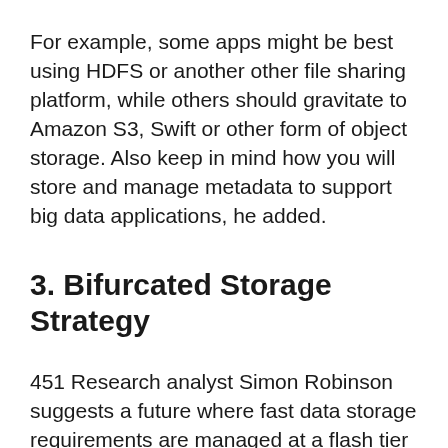For example, some apps might be best using HDFS or another other file sharing platform, while others should gravitate to Amazon S3, Swift or other form of object storage. Also keep in mind how you will store and manage metadata to support big data applications, he added.
3. Bifurcated Storage Strategy
451 Research analyst Simon Robinson suggests a future where fast data storage requirements are managed at a flash tier (performance) and everything else scales out into cost-optimized tiers supported by object storage (capacity)